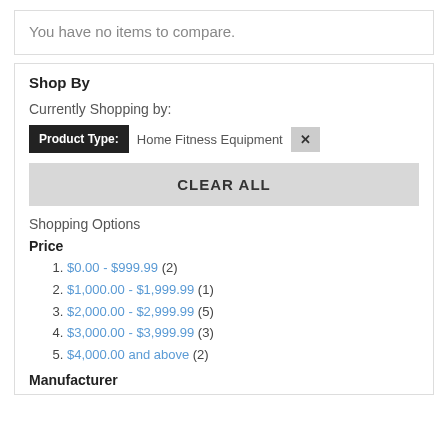You have no items to compare.
Shop By
Currently Shopping by:
Product Type: Home Fitness Equipment ×
CLEAR ALL
Shopping Options
Price
$0.00 - $999.99 (2)
$1,000.00 - $1,999.99 (1)
$2,000.00 - $2,999.99 (5)
$3,000.00 - $3,999.99 (3)
$4,000.00 and above (2)
Manufacturer